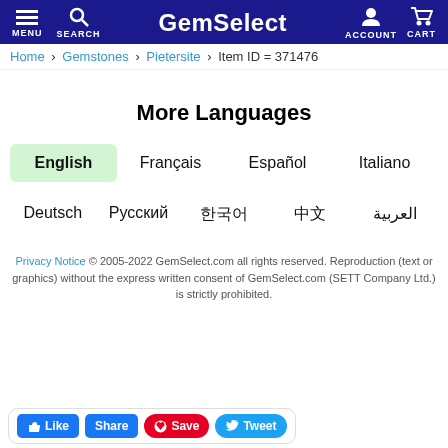GemSelect — MENU SEARCH ACCOUNT CART
Home > Gemstones > Pietersite > Item ID = 371476
More Languages
English
Français
Español
Italiano
Deutsch
Русский
한국어
中文
العربية
Privacy Notice © 2005-2022 GemSelect.com all rights reserved. Reproduction (text or graphics) without the express written consent of GemSelect.com (SETT Company Ltd.) is strictly prohibited.